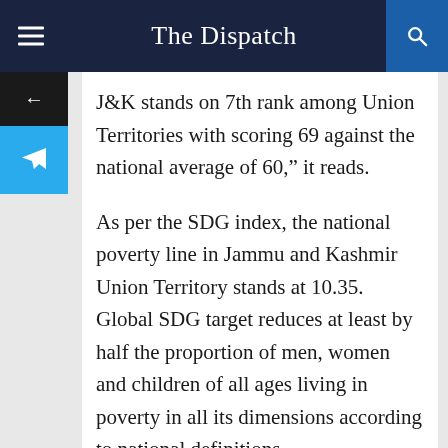The Dispatch
J&K stands on 7th rank among Union Territories with scoring 69 against the national average of 60,” it reads.
As per the SDG index, the national poverty line in Jammu and Kashmir Union Territory stands at 10.35. Global SDG target reduces at least by half the proportion of men, women and children of all ages living in poverty in all its dimensions according to national definitions.